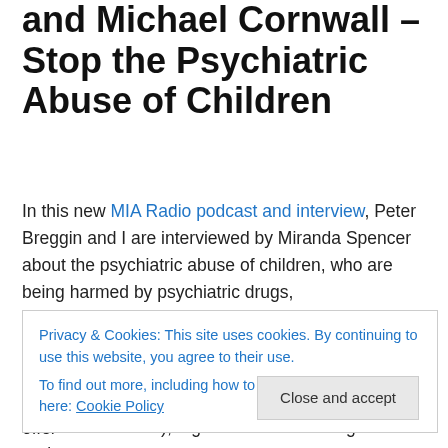and Michael Cornwall – Stop the Psychiatric Abuse of Children
In this new MIA Radio podcast and interview, Peter Breggin and I are interviewed by Miranda Spencer about the psychiatric abuse of children, who are being harmed by psychiatric drugs, labels/diagnoses, ECT, and by the new FDA-approved electrical brain device that is placed on the foreheads of children all night long, who are diagnosed with ADHD – the Monarch eTNS. We offer
Privacy & Cookies: This site uses cookies. By continuing to use this website, you agree to their use. To find out more, including how to control cookies, see here: Cookie Policy
Abuse of Children), a grassroots human rights project.